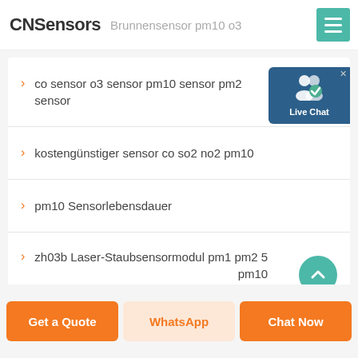CNSensors — Brunnensensor pm10 o3
co sensor o3 sensor pm10 sensor pm2 sensor
kostengünstiger sensor co so2 no2 pm10
pm10 Sensorlebensdauer
zh03b Laser-Staubsensormodul pm1 pm2 5 pm10
Live Chat
Get a Quote | WhatsApp | Chat Now